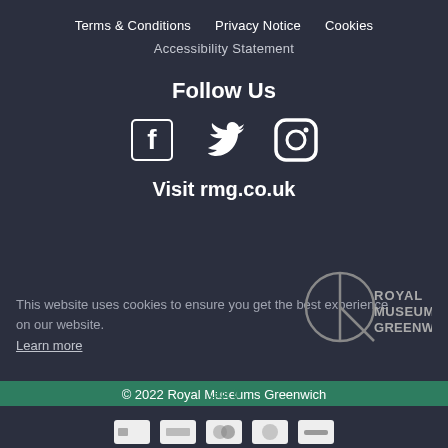Terms & Conditions   Privacy Notice   Cookies
Accessibility Statement
Follow Us
[Figure (illustration): Social media icons: Facebook, Twitter, Instagram]
Visit rmg.co.uk
This website uses cookies to ensure you get the best experience on our website.
Learn more
[Figure (logo): Royal Museums Greenwich logo]
© 2022 Royal Museums Greenwich
Got it
[Figure (illustration): Payment method icons at bottom of page]